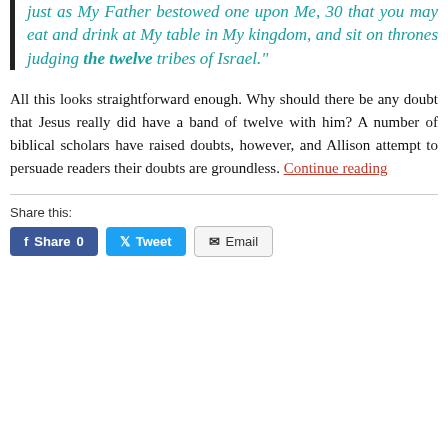29 And I bestow upon you a kingdom, just as My Father bestowed one upon Me, 30 that you may eat and drink at My table in My kingdom, and sit on thrones judging the twelve tribes of Israel."
All this looks straightforward enough. Why should there be any doubt that Jesus really did have a band of twelve with him? A number of biblical scholars have raised doubts, however, and Allison attempt to persuade readers their doubts are groundless. Continue reading
Share this:
[Figure (other): Social share buttons: Facebook Share 0, Twitter Tweet, Email]